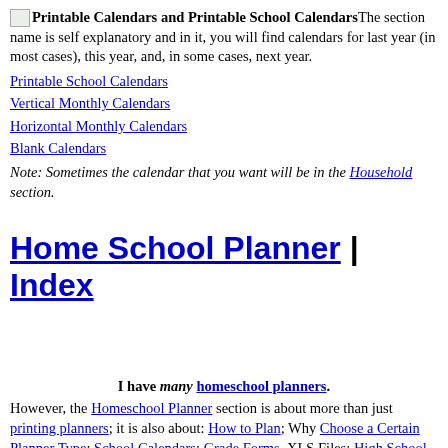[image] Printable Calendars and Printable School CalendarsThe section name is self explanatory and in it, you will find calendars for last year (in most cases), this year, and, in some cases, next year.
Printable School Calendars
Vertical Monthly Calendars
Horizontal Monthly Calendars
Blank Calendars
Note: Sometimes the calendar that you want will be in the Household section.
Home School Planner | Index
I have many homeschool planners. However, the Homeschool Planner section is about more than just printing planners; it is also about: How to Plan; Why Choose a Certain Planner Type; School Calendars; Grade Forms, XLS Files; High School Forms; and more. If you are a homeschooler, just go